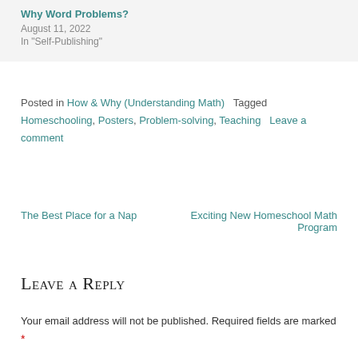Why Word Problems?
August 11, 2022
In "Self-Publishing"
Posted in How & Why (Understanding Math)   Tagged Homeschooling, Posters, Problem-solving, Teaching   Leave a comment
The Best Place for a Nap
Exciting New Homeschool Math Program
Leave a Reply
Your email address will not be published. Required fields are marked *